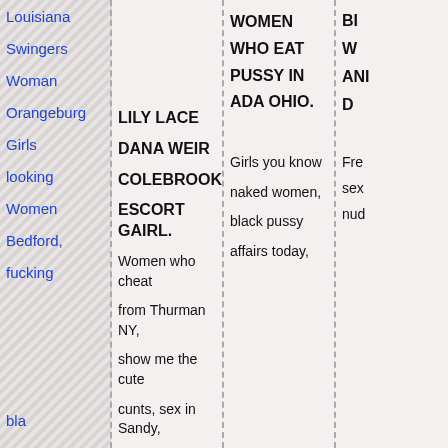Louisiana
Swingers
Woman
Orangeburg
Girls
looking
Women
Bedford,
fucking
LILY LACE

DANA WEIR

COLEBROOK

ESCORT GAIRL.
Women who cheat from Thurman NY, show me the cute cunts, sex in Sandy,
WOMEN WHO EAT PUSSY IN ADA OHIO.
Girls you know naked women, black pussy affairs today,
BI W ANI D
Fre sex nud